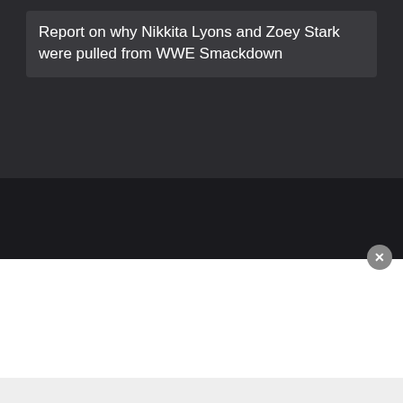Report on why Nikkita Lyons and Zoey Stark were pulled from WWE Smackdown
Most Viewed
Features
Mandy Rose's "I hope you can...